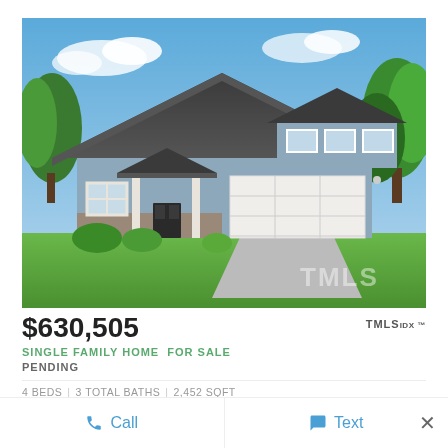[Figure (photo): Exterior rendering of a craftsman-style single family home with gray siding, dark roof, covered front porch, and two-car garage. Background shows blue sky and green trees. TMLS watermark in lower right corner.]
$630,505
TMLS IDX ™
SINGLE FAMILY HOME  FOR SALE
PENDING
4 BEDS | 3 TOTAL BATHS | 2,452 SQFT
Call
Text